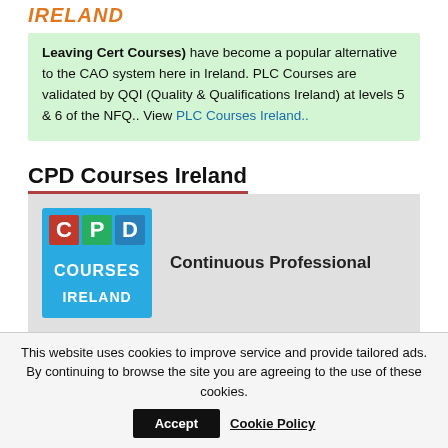IRELAND
Leaving Cert Courses) have become a popular alternative to the CAO system here in Ireland. PLC Courses are validated by QQI (Quality & Qualifications Ireland) at levels 5 & 6 of the NFQ.. View PLC Courses Ireland..
CPD Courses Ireland
[Figure (logo): CPD Courses Ireland logo — blue background with CPD in colored letters (C=red/white, P=green/white, D=blue/white), COURSES and IRELAND in white text below]
Continuous Professional
This website uses cookies to improve service and provide tailored ads. By continuing to browse the site you are agreeing to the use of these cookies.